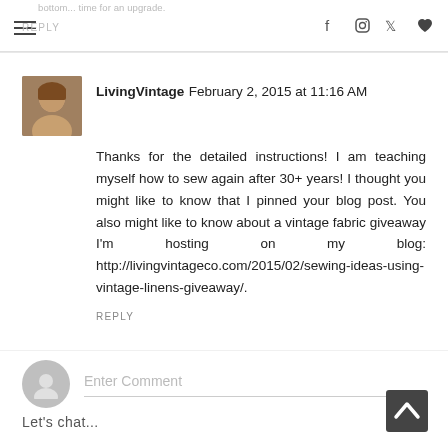bottom... time for an upgrade.
REPLY
LivingVintage February 2, 2015 at 11:16 AM
Thanks for the detailed instructions! I am teaching myself how to sew again after 30+ years! I thought you might like to know that I pinned your blog post. You also might like to know about a vintage fabric giveaway I'm hosting on my blog: http://livingvintageco.com/2015/02/sewing-ideas-using-vintage-linens-giveaway/.
REPLY
Enter Comment
Let's chat...